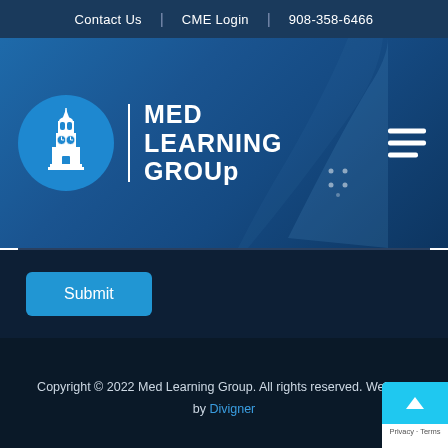Contact Us | CME Login | 908-358-6466
[Figure (logo): Med Learning Group logo — clock tower building icon inside a blue circle, with a vertical white line divider and 'MED LEARNING GROUp' text in white bold lettering, hamburger menu icon on the right]
Submit
Copyright © 2022 Med Learning Group. All rights reserved. Website by Divigner